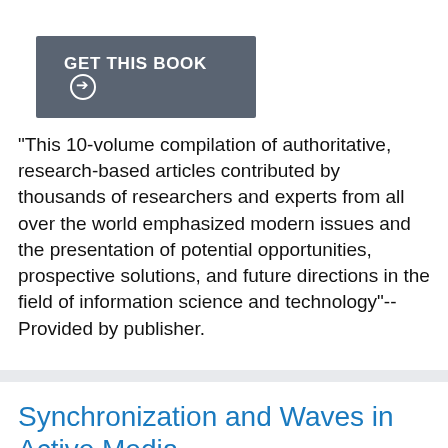[Figure (other): GET THIS BOOK button with arrow icon on grey background]
"This 10-volume compilation of authoritative, research-based articles contributed by thousands of researchers and experts from all over the world emphasized modern issues and the presentation of potential opportunities, prospective solutions, and future directions in the field of information science and technology"--Provided by publisher.
Synchronization and Waves in Active Media